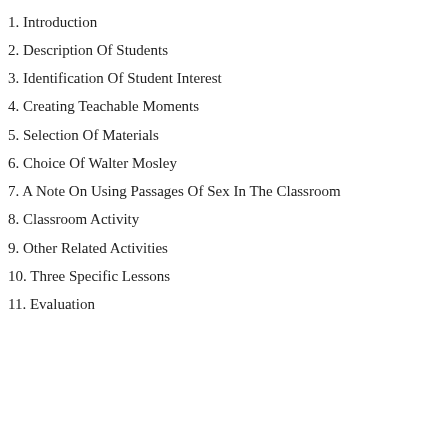1. Introduction
2. Description Of Students
3. Identification Of Student Interest
4. Creating Teachable Moments
5. Selection Of Materials
6. Choice Of Walter Mosley
7. A Note On Using Passages Of Sex In The Classroom
8. Classroom Activity
9. Other Related Activities
10. Three Specific Lessons
11. Evaluation